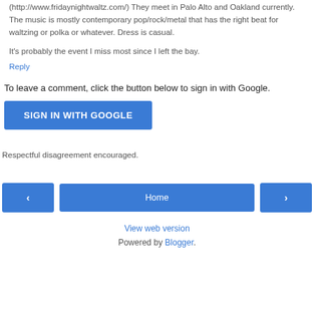(http://www.fridaynightwaltz.com/) They meet in Palo Alto and Oakland currently. The music is mostly contemporary pop/rock/metal that has the right beat for waltzing or polka or whatever. Dress is casual.
It's probably the event I miss most since I left the bay.
Reply
To leave a comment, click the button below to sign in with Google.
SIGN IN WITH GOOGLE
Respectful disagreement encouraged.
< Home >
View web version
Powered by Blogger.